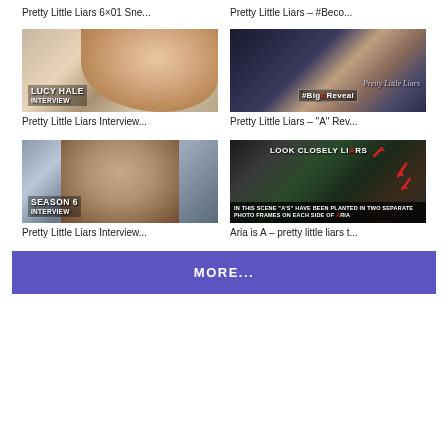Pretty Little Liars 6×01 Sne...
Pretty Little Liars – #Beco...
[Figure (photo): Lucy Hale interview thumbnail with text overlay: LUCY HALE INTERVIEW]
[Figure (photo): Pretty Little Liars #BigAReveal promo image with cast and title overlay]
Pretty Little Liars Interview...
Pretty Little Liars – "A" Rev...
[Figure (photo): Season 6 Interview thumbnail with woman and text overlay: SEASON 6 INTERVIEW]
[Figure (photo): Look Closely Liars thumbnail with text: IN THIS SCENE "A'S" HAVE BEEN PLANTED IN TWO SEPARATE PHOTO FRAMES ON EACH SIDE OF ARIA]
Pretty Little Liars Interview...
Aria is A – pretty little liars t...
MORE...